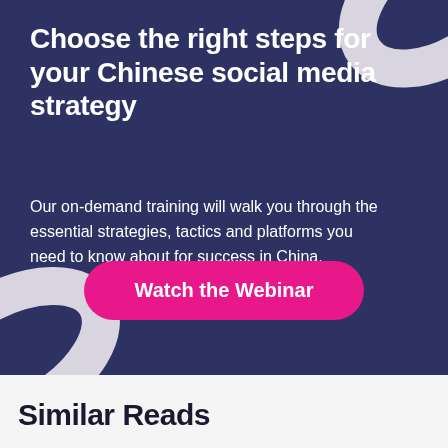Choose the right steps for your Chinese social media strategy
Our on-demand training will walk you through the essential strategies, tactics and platforms you need to know about for success in China.
Watch the Webinar
Similar Reads